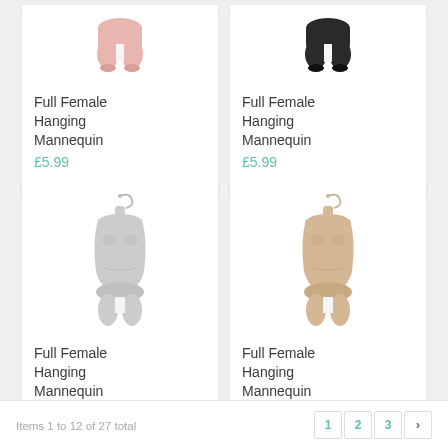[Figure (photo): Full Female Hanging Mannequin - pink/nude color, partial view (bottom half), cropped at top]
Full Female Hanging Mannequin
£5.99
[Figure (photo): Full Female Hanging Mannequin - black color, partial view (bottom half), cropped at top]
Full Female Hanging Mannequin
£5.99
[Figure (photo): Full Female Hanging Mannequin - white/silver color, full torso with hanger]
Full Female Hanging Mannequin
£5.99
[Figure (photo): Full Female Hanging Mannequin - beige/cream color, full torso with hanger]
Full Female Hanging Mannequin
£5.99
Items 1 to 12 of 27 total  1  2  3  >